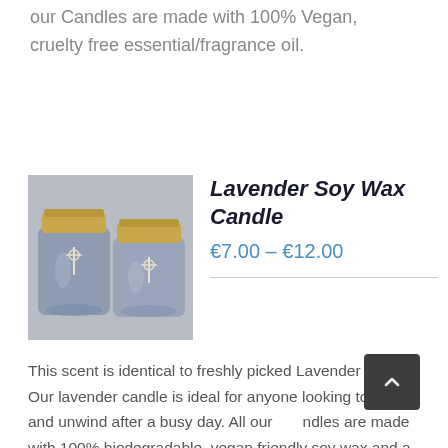our Candles are made with 100% Vegan, cruelty free essential/fragrance oil.
[Figure (photo): Two lavender-colored soy wax candles in glass jars with gold lids and white ribbon, photographed on a light gray background.]
Lavender Soy Wax Candle
€7.00 – €12.00
This scent is identical to freshly picked Lavender flowers. Our lavender candle is ideal for anyone looking to relax and unwind after a busy day. All our candles are made with 100% biodegradable, vegan friendly soy wax and a 100% lead free